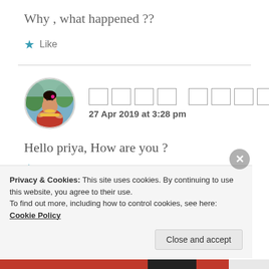Why , what happened ??
★ Like
[Figure (photo): Circular avatar image of a woman in traditional Indian attire with colorful background]
□□□□ □□□□
27 Apr 2019 at 3:28 pm
Hello priya, How are you ?
Privacy & Cookies: This site uses cookies. By continuing to use this website, you agree to their use. To find out more, including how to control cookies, see here: Cookie Policy
Close and accept